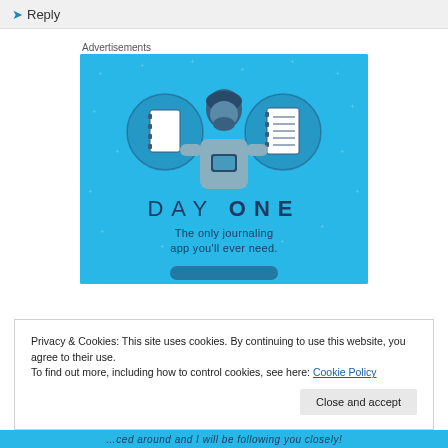Reply
Advertisements
[Figure (illustration): Day One journaling app advertisement. Blue background with illustration of a person holding a phone, flanked by two circular icons showing a blank notebook page and a lined notebook page. Text reads 'DAY ONE' and 'The only journaling app you'll ever need.']
Privacy & Cookies: This site uses cookies. By continuing to use this website, you agree to their use.
To find out more, including how to control cookies, see here: Cookie Policy
Close and accept